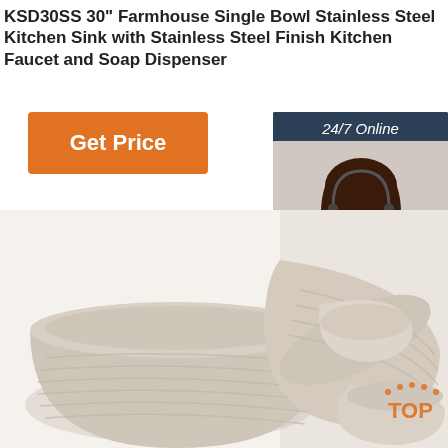KSD30SS 30" Farmhouse Single Bowl Stainless Steel Kitchen Sink with Stainless Steel Finish Kitchen Faucet and Soap Dispenser
[Figure (other): Orange 'Get Price' button]
[Figure (other): 24/7 Online support sidebar with photo of woman with headset, 'Click here for free chat!' text, and orange QUOTATION button]
[Figure (photo): Product photo showing stacked silicone/ceramic bowls in beige/tan color with ribbed texture, on white background. TOP logo watermark in bottom right corner.]